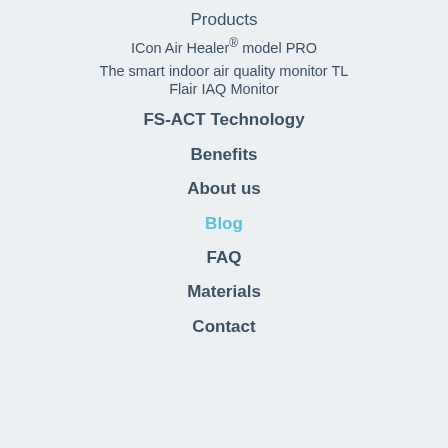Products
ICon Air Healer® model PRO
The smart indoor air quality monitor TL Flair IAQ Monitor
FS-ACT Technology
Benefits
About us
Blog
FAQ
Materials
Contact